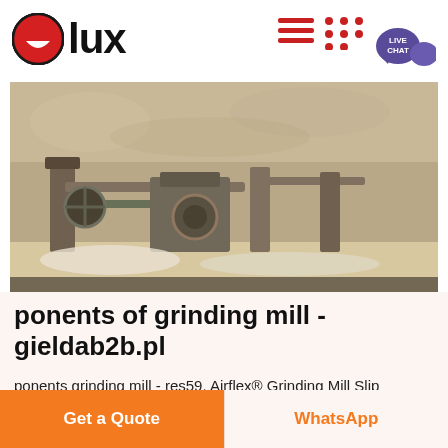[Figure (logo): Olux logo: red circle with white smile icon and bold black 'lux' text]
[Figure (photo): Industrial grinding mill machinery at a mining site, showing metal structures, pipes and equipment against a rocky background]
ponents of grinding mill - gieldab2b.pl
ponents grinding mill - res59. Airflex® Grinding Mill Slip Detection Control Manual CP 3105 - Eaton. tection for grinding mill drive systems and has been
Get a Quote
WhatsApp